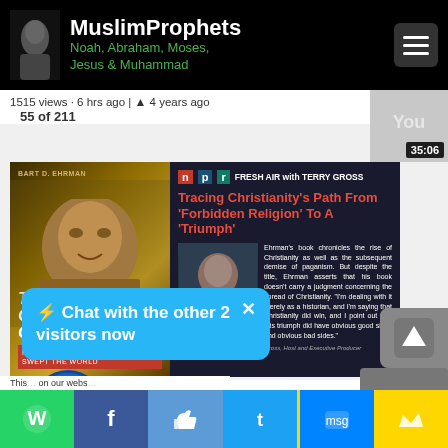MuslimProphets — Noah, Abraham, Moses, Jesus & Muhammad
1515 views · 6 hrs ago | 4 years ago
55 of 211
[Figure (screenshot): NPR Fresh Air with Terry Gross thumbnail showing Bart Ehrman book 'The Triumph of Christianity' and NPR interview segment titled 'Tracing Christianity's Path From Forbidden Religion To A Triumph'. Duration 35:06.]
C... w to 'Triumph' - Bart Ehrman
⚡ Chat with the other 2 visitors now
1... · 55 mins ago | 4 years ago
This ... on our webs...
Social sharing bar: WhatsApp, Facebook, Like, Twitter, Message, Crown